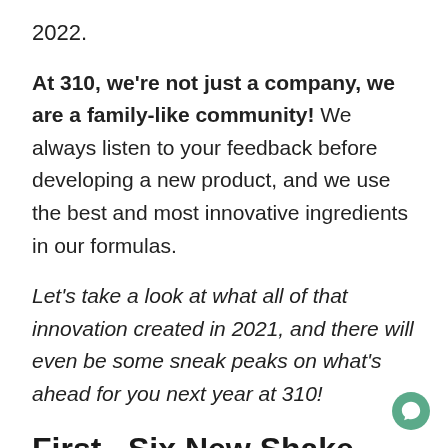2022.
At 310, we're not just a company, we are a family-like community! We always listen to your feedback before developing a new product, and we use the best and most innovative ingredients in our formulas.
Let's take a look at what all of that innovation created in 2021, and there will even be some sneak peaks on what's ahead for you next year at 310!
First...Six New Shake Flavors
310 Vanilla Cake